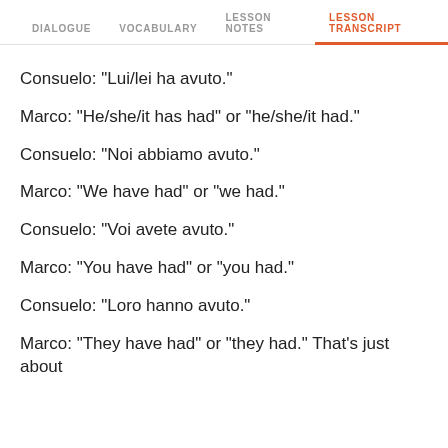DIALOGUE   VOCABULARY   LESSON NOTES   LESSON TRANSCRIPT
Consuelo: "Lui/lei ha avuto."
Marco: "He/she/it has had" or "he/she/it had."
Consuelo: "Noi abbiamo avuto."
Marco: "We have had" or "we had."
Consuelo: "Voi avete avuto."
Marco: "You have had" or "you had."
Consuelo: "Loro hanno avuto."
Marco: "They have had" or "they had." That's just about